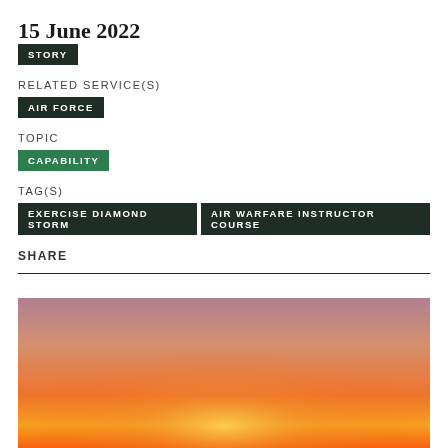15 June 2022
STORY
RELATED SERVICE(S)
AIR FORCE
TOPIC
CAPABILITY
TAG(S)
EXERCISE DIAMOND STORM
AIR WARFARE INSTRUCTOR COURSE
SHARE
[Figure (photo): Sunset sky photo with orange and pink gradient hues, partial view of horizon]